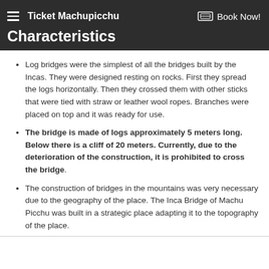Ticket Machupicchu   Book Now!
Characteristics
Log bridges were the simplest of all the bridges built by the Incas. They were designed resting on rocks. First they spread the logs horizontally. Then they crossed them with other sticks that were tied with straw or leather wool ropes. Branches were placed on top and it was ready for use.
The bridge is made of logs approximately 5 meters long. Below there is a cliff of 20 meters. Currently, due to the deterioration of the construction, it is prohibited to cross the bridge.
The construction of bridges in the mountains was very necessary due to the geography of the place. The Inca Bridge of Machu Picchu was built in a strategic place adapting it to the topography of the place.